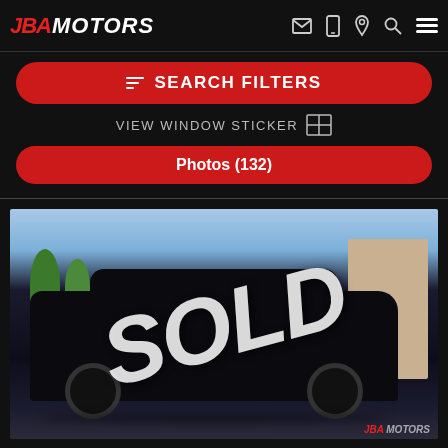JBA MOTORS
SEARCH FILTERS
VIEW WINDOW STICKER
Photos (132)
[Figure (photo): Black SUV (Cadillac XT6 or similar) parked in a lot with a blue sky background and building visible. A large 'SOLD' watermark overlays the image. JBA Motors logo watermark in bottom right corner.]